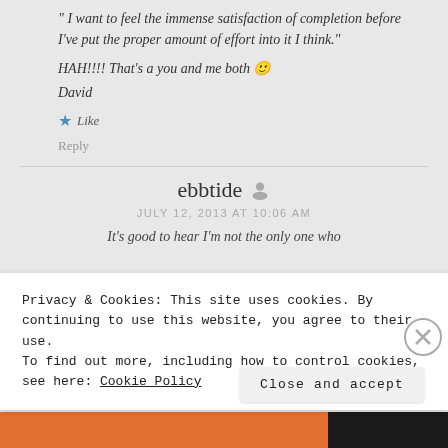"I want to feel the immense satisfaction of completion before I've put the proper amount of effort into it I think."
HAH!!!! That's a you and me both 🙂
David
★ Like
Reply
ebbtide
JULY 12, 2013 AT 10:06 AM
It's good to hear I'm not the only one who
Privacy & Cookies: This site uses cookies. By continuing to use this website, you agree to their use.
To find out more, including how to control cookies, see here: Cookie Policy
Close and accept